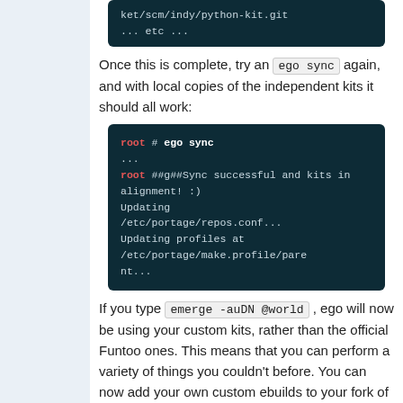[Figure (screenshot): Dark terminal code block showing: ket/scm/indy/python-kit.git ... etc ...]
Once this is complete, try an ego sync again, and with local copies of the independent kits it should all work:
[Figure (screenshot): Dark terminal code block showing: root # ego sync ... root ##g##Sync successful and kits in alignment! :) Updating /etc/portage/repos.conf... Updating profiles at /etc/portage/make.profile/parent...]
If you type emerge -auDN @world , ego will now be using your custom kits, rather than the official Funtoo ones. This means that you can perform a variety of things you couldn't before. You can now add your own custom ebuilds to your fork of kit-fixups and merge all